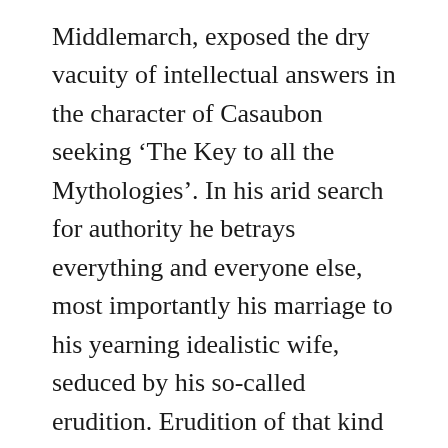Middlemarch, exposed the dry vacuity of intellectual answers in the character of Casaubon seeking ‘The Key to all the Mythologies’. In his arid search for authority he betrays everything and everyone else, most importantly his marriage to his yearning idealistic wife, seduced by his so-called erudition. Erudition of that kind is the atrophy of the soul. This was the work Virginia Woolf called the ‘first novel for adults’. By that I take her to mean that meaning is not arrived at by catalogue or cogitation, or ‘givens’ from any source, but by independent ‘openness’ to all. And the courage to step away from any collective. (George Eliot was never a joiner of groups, not even those who expected it like the